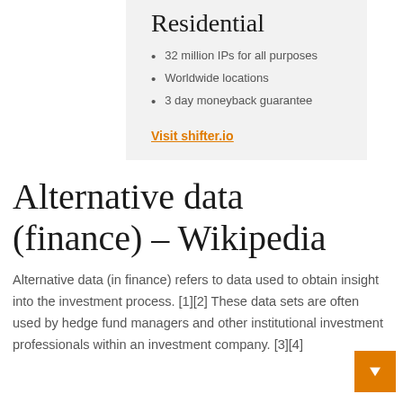Residential
32 million IPs for all purposes
Worldwide locations
3 day moneyback guarantee
Visit shifter.io
Alternative data (finance) – Wikipedia
Alternative data (in finance) refers to data used to obtain insight into the investment process. [1][2] These data sets are often used by hedge fund managers and other institutional investment professionals within an investment company. [3][4]